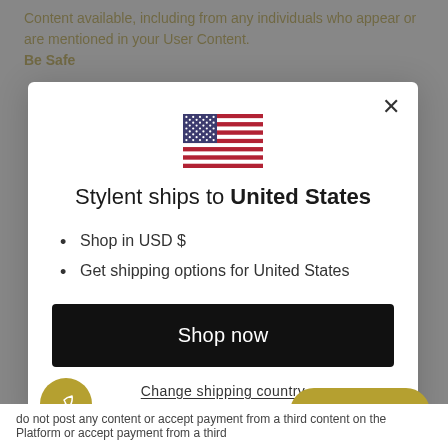Content available, including from any individuals who appear or are mentioned in your User Content.
Be Safe
[Figure (illustration): Modal dialog showing US flag and shipping information. Contains: US flag icon, title 'Stylent ships to United States', bullet points 'Shop in USD $' and 'Get shipping options for United States', a black 'Shop now' button, a 'Change shipping country' link, a 'Chat with us' pill button, and a feather icon circle.]
Shop in USD $
Get shipping options for United States
Shop now
Change shipping country
Chat with us
do not post any content or accept payment from a third content on the Platform or accept payment from a third